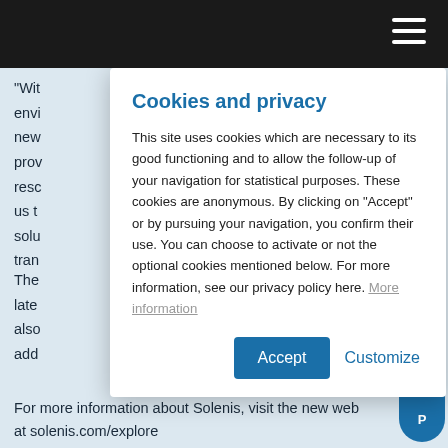"With ... envi ... new ... prov ... resc ... us t ... solu ... tran ..."
Cookies and privacy
This site uses cookies which are necessary to its good functioning and to allow the follow-up of your navigation for statistical purposes. These cookies are anonymous. By clicking on "Accept" or by pursuing your navigation, you confirm their use. You can choose to activate or not the optional cookies mentioned below. For more information, see our privacy policy here. More information
The ... late ... also ... add ...
For more information about Solenis, visit the new web... at solenis.com/explore